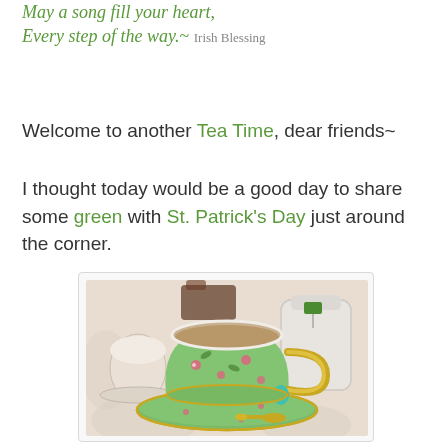May a song fill your heart, Every step of the way.~ Irish Blessing
Welcome to another Tea Time, dear friends~
I thought today would be a good day to share some green with St. Patrick's Day just around the corner.
[Figure (photo): A green floral teacup and saucer with gold handle and spoon, filled with tea, on a decorative tablecloth. Other tea service items visible in background.]